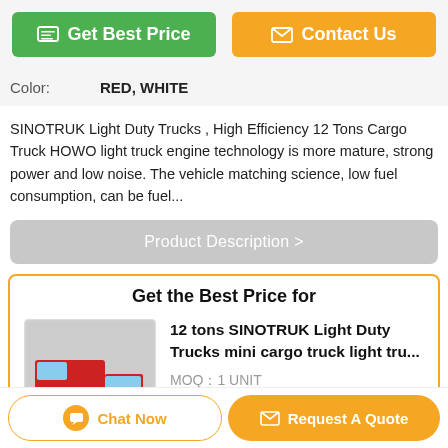Get Best Price
Contact Us
Color: RED, WHITE
SINOTRUK Light Duty Trucks , High Efficiency 12 Tons Cargo Truck HOWO light truck engine technology is more mature, strong power and low noise. The vehicle matching science, low fuel consumption, can be fuel...
Product Description >
Get the Best Price for
[Figure (photo): Red SINOTRUK light duty cargo truck, front-side view, parked outdoors]
12 tons SINOTRUK Light Duty Trucks mini cargo truck light tru...
MOQ：1 UNIT
Price：negociate
Continue
Chat Now
Request A Quote